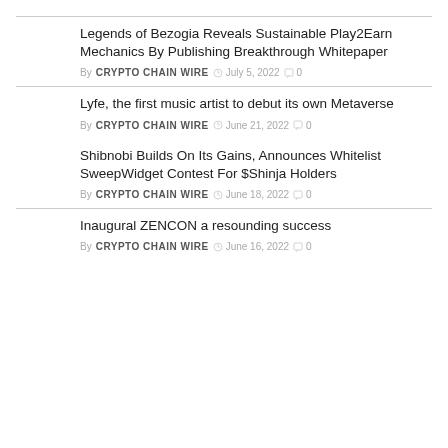Legends of Bezogia Reveals Sustainable Play2Earn Mechanics By Publishing Breakthrough Whitepaper
By CRYPTO CHAIN WIRE  July 5, 2022  0
Lyfe, the first music artist to debut its own Metaverse
By CRYPTO CHAIN WIRE  June 21, 2022  0
Shibnobi Builds On Its Gains, Announces Whitelist SweepWidget Contest For $Shinja Holders
By CRYPTO CHAIN WIRE  June 18, 2022  0
Inaugural ZENCON a resounding success
By CRYPTO CHAIN WIRE  June 16, 2022  0